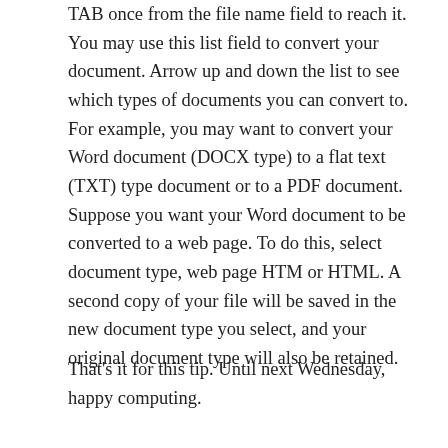TAB once from the file name field to reach it. You may use this list field to convert your document. Arrow up and down the list to see which types of documents you can convert to. For example, you may want to convert your Word document (DOCX type) to a flat text (TXT) type document or to a PDF document. Suppose you want your Word document to be converted to a web page. To do this, select document type, web page HTM or HTML. A second copy of your file will be saved in the new document type you select, and your original document type will also be retained.
That's it for this tip. Until next Wednesday, happy computing.